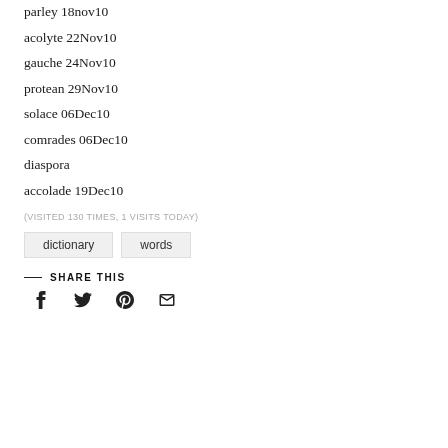parley 18nov10
acolyte 22Nov10
gauche 24Nov10
protean 29Nov10
solace 06Dec10
comrades 06Dec10
diaspora
accolade 19Dec10
(VISITED 130 TIMES, 1 VISITS TODAY)
dictionary   words
— SHARE THIS
[Figure (infographic): Social share icons: Facebook, Twitter, Pinterest, Email]